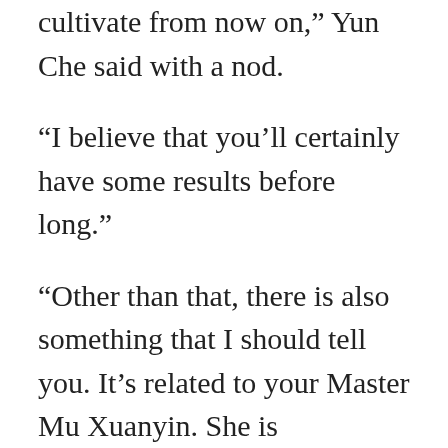cultivate from now on,” Yun Che said with a nod.
“I believe that you’ll certainly have some results before long.”
“Other than that, there is also something that I should tell you. It’s related to your Master Mu Xuanyin. She is actually… I…”
The voice of the ice phoenix girl became lighter all of a sudden. After hesitating for a bit, she